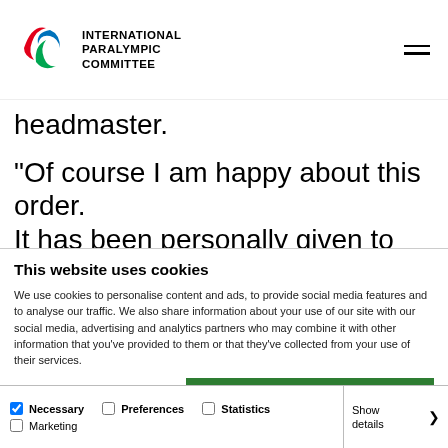International Paralympic Committee
headmaster.
"Of course I am happy about this order. It has been personally given to me, but
This website uses cookies
We use cookies to personalise content and ads, to provide social media features and to analyse our traffic. We also share information about your use of our site with our social media, advertising and analytics partners who may combine it with other information that you've provided to them or that they've collected from your use of their services.
Allow all cookies | Allow selection | Use necessary cookies only
Necessary  Preferences  Statistics  Marketing  Show details